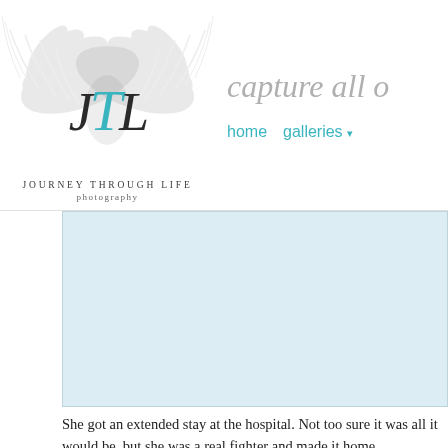[Figure (logo): Journey Through Life Photography logo with wing motif and JTL monogram]
capture all o
home   galleries ▾
[Figure (photo): Light blue image placeholder box]
She got an extended stay at the hospital. Not too sure it was all it would be, but she was a real fighter and made it home.
[Figure (photo): Second image placeholder]